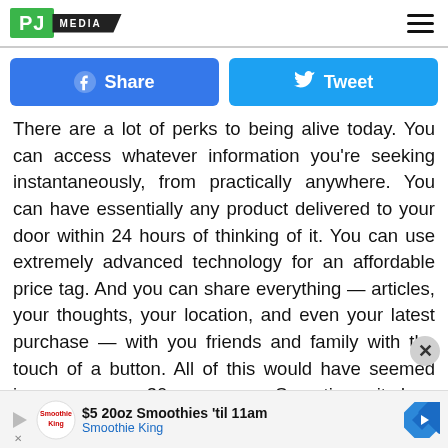[Figure (logo): PJ Media logo with green square containing 'PJ' text and dark banner reading 'MEDIA']
[Figure (infographic): Facebook Share button (blue) and Twitter Tweet button (light blue) side by side]
There are a lot of perks to being alive today. You can access whatever information you're seeking instantaneously, from practically anywhere. You can have essentially any product delivered to your door within 24 hours of thinking of it. You can use extremely advanced technology for an affordable price tag. And you can share everything — articles, your thoughts, your location, and even your latest purchase — with you friends and family with the touch of a button. All of this would have seemed insane a mere 30 years ago. Sometimes it does feel like we're living in a sci-fi movie
[Figure (infographic): Advertisement banner: $5 20oz Smoothies 'til 11am - Smoothie King, with play button, Smoothie King logo, and direction arrow icon]